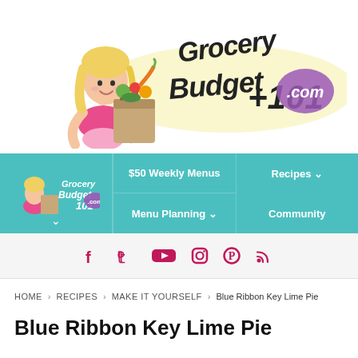[Figure (logo): GroceryBudget101.com logo with cartoon blonde woman holding a bag of groceries and stylized text]
[Figure (screenshot): Navigation bar with teal background showing mini logo, $50 Weekly Menus, Recipes, Menu Planning, Community links]
[Figure (infographic): Social media icon bar with Facebook, Twitter, YouTube, Instagram, Pinterest, and RSS icons in pink/red]
HOME > RECIPES > MAKE IT YOURSELF > Blue Ribbon Key Lime Pie
Blue Ribbon Key Lime Pie